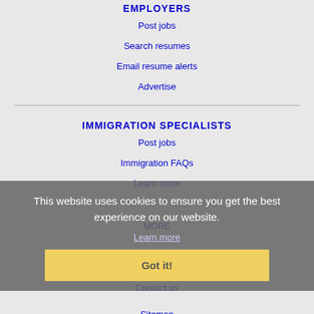EMPLOYERS
Post jobs
Search resumes
Email resume alerts
Advertise
IMMIGRATION SPECIALISTS
Post jobs
Immigration FAQs
Learn more
This website uses cookies to ensure you get the best experience on our website.
Learn more
Got it!
MORE
FAQ
Contact us
Sitemap
Legal